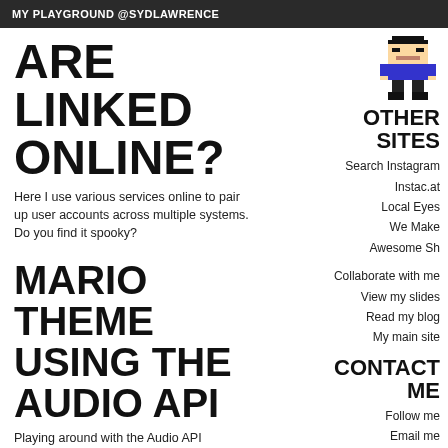MY PLAYGROUND @SYDLAWRENCE
ARE LINKED ONLINE?
Here I use various services online to pair up user accounts across multiple systems. Do you find it spooky?
MARIO THEME USING THE AUDIO API
Playing around with the Audio API
[Figure (illustration): Pixel art character resembling a Mario-style sprite in blue outfit]
OTHER SITES
Search Instagram
Instac.at
Local Eyes
We Make
Awesome Sh
Collaborate with me
View my slides
Read my blog
My main site
CONTACT ME
Follow me
Email me